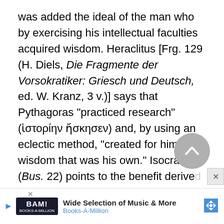was added the ideal of the man who by exercising his intellectual faculties acquired wisdom. Heraclitus [Frg. 129 (H. Diels, Die Fragmente der Vorsokratiker: Griesch und Deutsch, ed. W. Kranz, 3 v.)] says that Pythagoras "practiced research" (ἱστορίην ἤσκησεν) and, by using an eclectic method, "created for himself a wisdom that was his own." Isocrates (Bus. 22) points to the benefit derived from... its...
[Figure (other): Grey circular scroll-to-top button with upward chevron arrow]
[Figure (other): Advertisement banner: BAM! Books-A-Million, Wide Selection of Music & More, with blue navigation arrow logo]